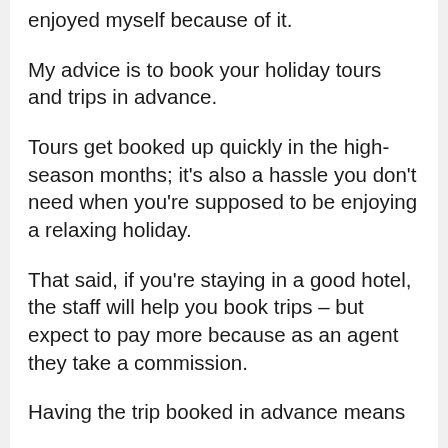enjoyed myself because of it.
My advice is to book your holiday tours and trips in advance.
Tours get booked up quickly in the high-season months; it's also a hassle you don't need when you're supposed to be enjoying a relaxing holiday.
That said, if you're staying in a good hotel, the staff will help you book trips – but expect to pay more because as an agent they take a commission.
Having the trip booked in advance means